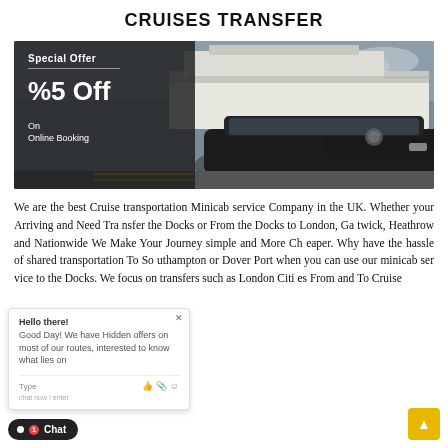CRUISES TRANSFER
[Figure (photo): Promotional banner showing a black Mercedes car parked at a cruise terminal with a large cruise ship in the background. Dark overlay on the left side shows 'Special Offer' text, a divider line, '%5 Off', and 'On Online Booking'.]
We are the best Cruise transportation Minicab service Company in the UK. Whether your Arriving and Need Transfer the Docks or From the Docks to London, Gatwick, Heathrow and nationwide We Make Your Journey simple and More Cheaper. Why have the hassle of shared transportation To Southampton or Dover Port when you can use our minicab service to the Docks. We focus on transfers such as London Cities From and To Cruise